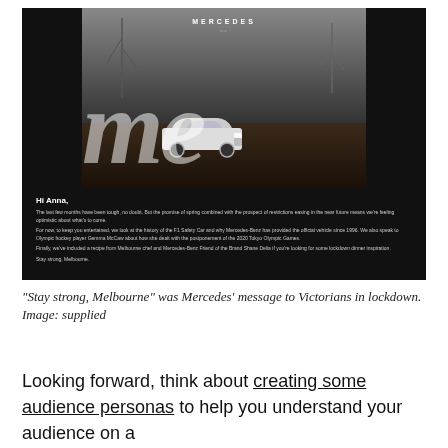[Figure (screenshot): Screenshot of a Mercedes-Benz email newsletter addressed to 'Hi Anna,' with a dark hero image featuring large white cursive letters 'me' overlaid on a photo of a Mercedes car in a grey landscape. The email body on black background contains text about spring optimism, F1 Safety Car history, Olympic hockey player Gemma McCaw, and a Melbourne chef recipe. Text ends with 'Stay strong, Melbourne.']
“Stay strong, Melbourne” was Mercedes’ message to Victorians in lockdown. Image: supplied
Looking forward, think about creating some audience personas to help you understand your audience on a